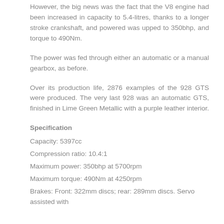However, the big news was the fact that the V8 engine had been increased in capacity to 5.4-litres, thanks to a longer stroke crankshaft, and powered was upped to 350bhp, and torque to 490Nm.
The power was fed through either an automatic or a manual gearbox, as before.
Over its production life, 2876 examples of the 928 GTS were produced. The very last 928 was an automatic GTS, finished in Lime Green Metallic with a purple leather interior.
Specification
Capacity: 5397cc
Compression ratio: 10.4:1
Maximum power: 350bhp at 5700rpm
Maximum torque: 490Nm at 4250rpm
Brakes: Front: 322mm discs; rear: 289mm discs. Servo assisted with